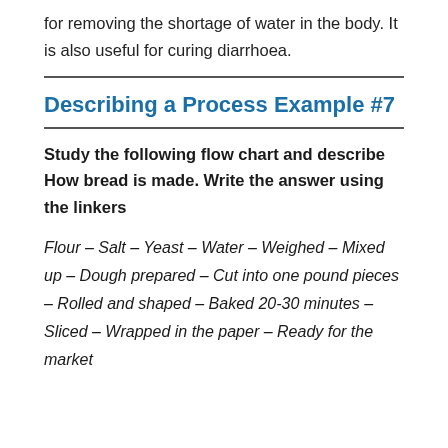for removing the shortage of water in the body. It is also useful for curing diarrhoea.
Describing a Process Example #7
Study the following flow chart and describe How bread is made. Write the answer using the linkers
Flour – Salt – Yeast – Water – Weighed – Mixed up – Dough prepared – Cut into one pound pieces – Rolled and shaped – Baked 20-30 minutes – Sliced – Wrapped in the paper – Ready for the market